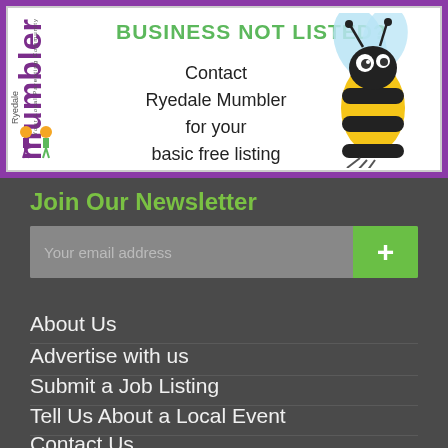[Figure (illustration): Ryedale Mumbler banner advertisement. White background with purple border. Left side has the Ryedale Mumbler logo with text rotated vertically. Center text reads 'BUSINESS NOT LISTED? Contact Ryedale Mumbler for your basic free listing'. Right side shows a cartoon bee illustration.]
Join Our Newsletter
[Figure (screenshot): Email subscription input field with placeholder 'Your email address' and a green plus button on the right.]
About Us
Advertise with us
Submit a Job Listing
Tell Us About a Local Event
Contact Us
Terms & Conditions
Privacy Policy